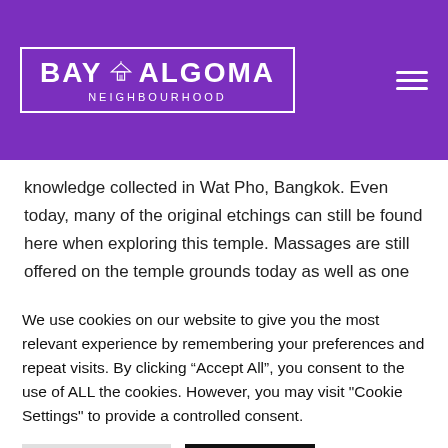[Figure (logo): Bay Algoma Neighbourhood logo in white on purple background with building icon]
knowledge collected in Wat Pho, Bangkok. Even today, many of the original etchings can still be found here when exploring this temple. Massages are still offered on the temple grounds today as well as one of the most renowned centers for learning Thai Massage.

Ramduan Dusolt (Puiy) founded the Thai Healing Center in Thunder Bay, Ontario, Canada to provide
We use cookies on our website to give you the most relevant experience by remembering your preferences and repeat visits. By clicking “Accept All”, you consent to the use of ALL the cookies. However, you may visit "Cookie Settings" to provide a controlled consent.